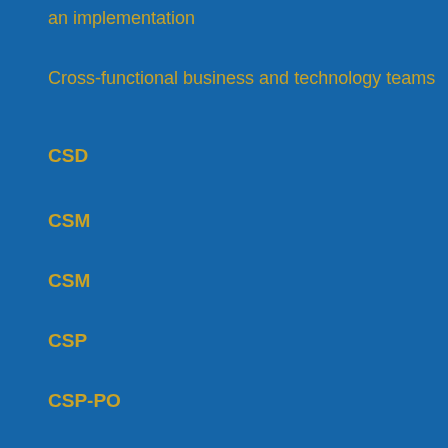an implementation
Cross-functional business and technology teams
CSD
CSM
CSM
CSP
CSP-PO
CSP-PO
CSP-SM
CSP-SM